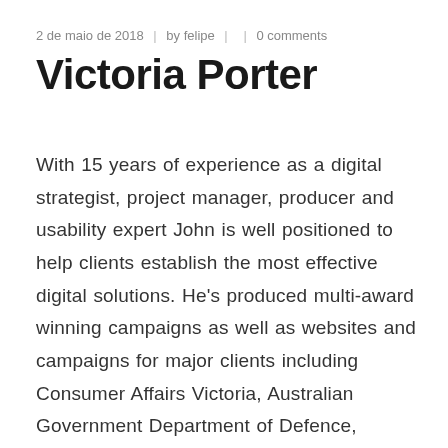2 de maio de 2018  |  by felipe  |  |  0 comments
Victoria Porter
With 15 years of experience as a digital strategist, project manager, producer and usability expert John is well positioned to help clients establish the most effective digital solutions. He's produced multi-award winning campaigns as well as websites and campaigns for major clients including Consumer Affairs Victoria, Australian Government Department of Defence, Victoria University, Super A Mart, 2XU, Medibank Health Solutions, Village Roadshow and Telstra. He holds a Bachelor of Arts from the University of Melbourne majoring in Sociology and Political